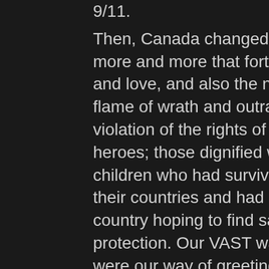9/11.
Then, Canada changed and you became more and more that fortress of empathy and love, and also the never ending flame of wrath and outrage against every violation of the rights of your heroes, our heroes; those dignified women, men and children who had survived the worst in their countries and had come to this country hoping to find safety and protection. Our VAST was safe and hugs were our way of greeting them.
While interpreting for an old man about to be deported and being shocked by two individuals, his so called lawyer and interpreter, both of whom were concerned with nothing